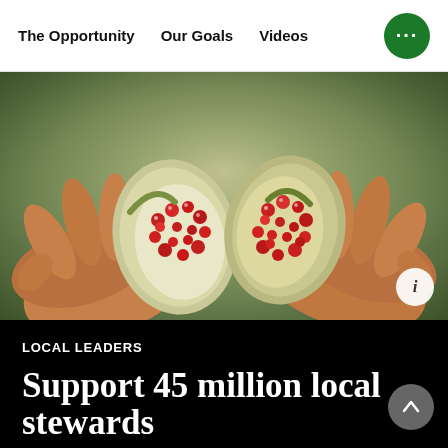The Opportunity | Our Goals | Videos
[Figure (photo): Close-up photo of two hands holding open a green fruit (resembling a small pomegranate or similar seed pod) showing red seeds inside, with a blurred green background.]
LOCAL LEADERS
Support 45 million local stewards